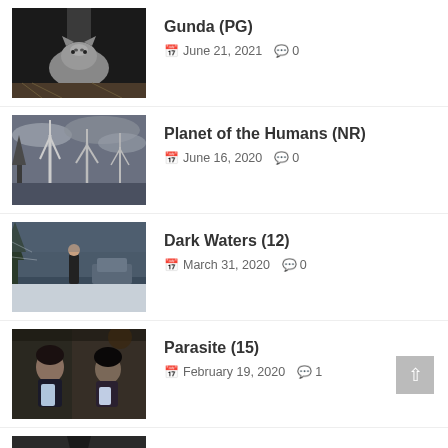Gunda (PG) — June 21, 2021, 0 comments
Planet of the Humans (NR) — June 16, 2020, 0 comments
Dark Waters (12) — March 31, 2020, 0 comments
Parasite (15) — February 19, 2020, 1 comment
The Lighthouse (15)